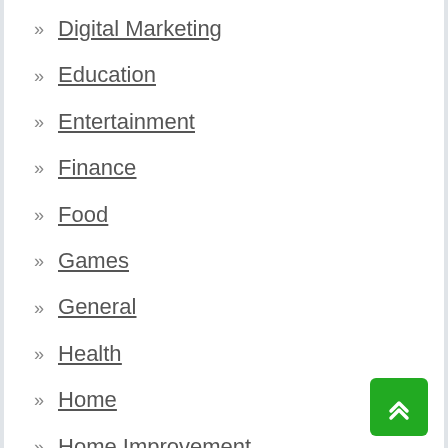» Digital Marketing
» Education
» Entertainment
» Finance
» Food
» Games
» General
» Health
» Home
» Home Improvement